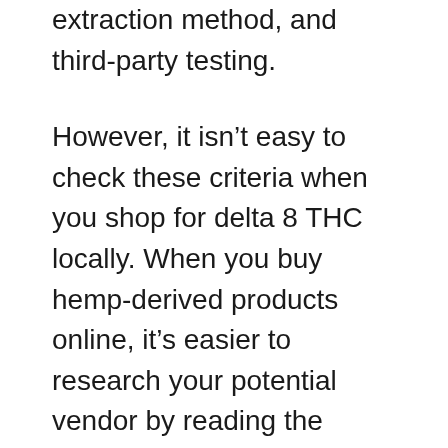extraction method, and third-party testing.
However, it isn't easy to check these criteria when you shop for delta 8 THC locally. When you buy hemp-derived products online, it's easier to research your potential vendor by reading the certificates of analysis of their products, looking for user reviews on third-party websites, and checking for professional advice on forums and social media groups.
This isn't the only perk that comes with buying delta 8 THC online. Here's why most transactions for delta 8 are made through the